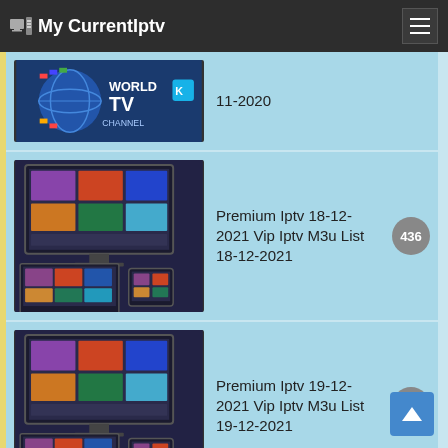My CurrentIptv
[Figure (screenshot): World TV Channel banner thumbnail]
11-2020
[Figure (screenshot): IPTV multi-device screenshot thumbnail]
Premium Iptv 18-12-2021 Vip Iptv M3u List 18-12-2021
[Figure (screenshot): IPTV multi-device screenshot thumbnail]
Premium Iptv 19-12-2021 Vip Iptv M3u List 19-12-2021
[Figure (screenshot): Italy flag banner thumbnail]
Italy Iptv M3u File Full Iptv M3u